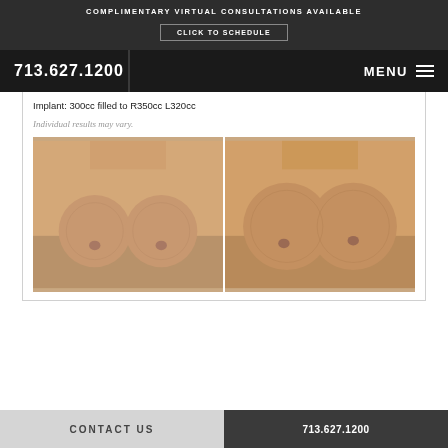COMPLIMENTARY VIRTUAL CONSULTATIONS AVAILABLE
CLICK TO SCHEDULE
713.627.1200
MENU
Implant: 300cc filled to R350cc L320cc
Individual results may vary.
[Figure (photo): Before and after breast augmentation surgery side-by-side comparison photo]
CONTACT US
713.627.1200